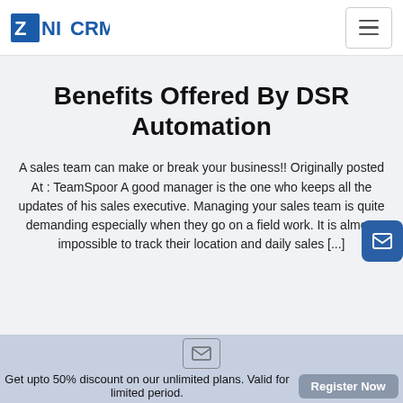ZNICRM logo and navigation menu
Benefits Offered By DSR Automation
A sales team can make or break your business!! Originally posted At : TeamSpoor A good manager is the one who keeps all the updates of his sales executive. Managing your sales team is quite demanding especially when they go on a field work. It is almost impossible to track their location and daily sales [...]
Get upto 50% discount on our unlimited plans. Valid for limited period.
Register Now